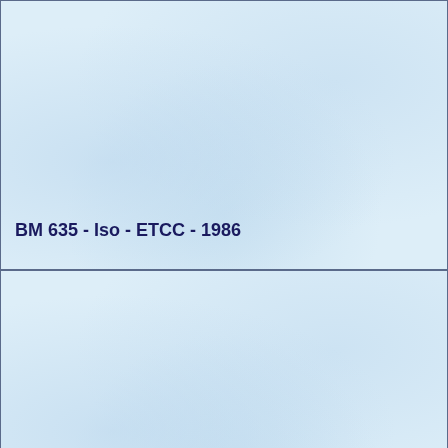BM 635 - Iso - ETCC - 1986
BM 635 - Jim Richards - ATCC - 1985